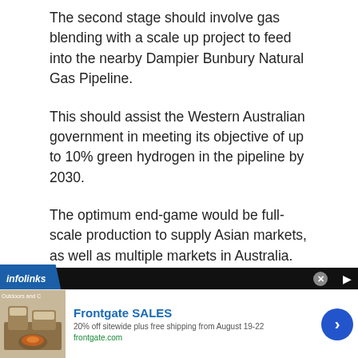The second stage should involve gas blending with a scale up project to feed into the nearby Dampier Bunbury Natural Gas Pipeline.
This should assist the Western Australian government in meeting its objective of up to 10% green hydrogen in the pipeline by 2030.
The optimum end-game would be full-scale production to supply Asian markets, as well as multiple markets in Australia.
[Figure (other): Advertisement banner: Infolinks ad bar with Frontgate SALES advertisement showing outdoor furniture image, '20% off sitewide plus free shipping from August 19-22', frontgate.com URL, and a blue circular arrow button.]